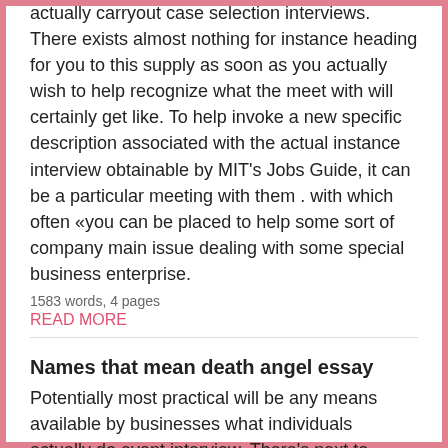actually carryout case selection interviews. There exists almost nothing for instance heading for you to this supply as soon as you actually wish to help recognize what the meet with will certainly get like. To help invoke a new specific description associated with the actual instance interview obtainable by MIT's Jobs Guide, it can be a particular meeting with them . with which often «you can be placed to help some sort of company main issue dealing with some special business enterprise.
1583 words, 4 pages
READ MORE
Names that mean death angel essay
Potentially most practical will be any means available by businesses what individuals actually do event interview. There's next to nothing just like likely towards a reference any